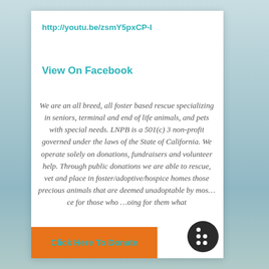http://youtu.be/zsmY5pxCP-I
View On Facebook
We are an all breed, all foster based rescue specializing in seniors, terminal and end of life animals, and pets with special needs. LNPB is a 501(c) 3 non-profit governed under the laws of the State of California. We operate solely on donations, fundraisers and volunteer help. Through public donations we are able to rescue, vet and place in foster/adoptive/hospice homes those precious animals that are deemed unadoptable by most... ce for those who ...oing for them what